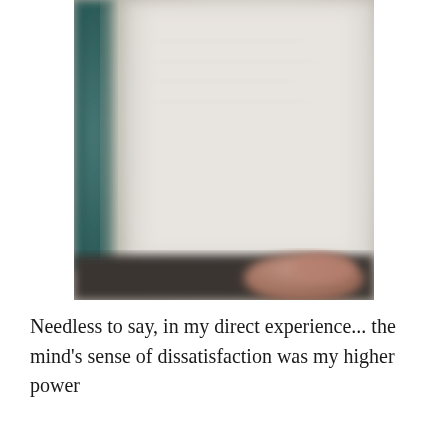[Figure (photo): Blurry close-up photo of an open book or white pages, with a hand visible in the lower right corner and a teal/green spine visible on the left edge.]
Needless to say, in my direct experience... the mind's sense of dissatisfaction was my higher power